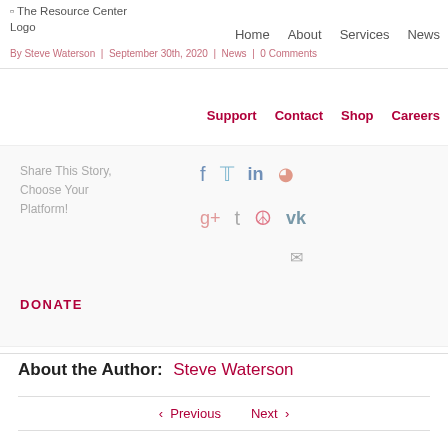[Figure (logo): The Resource Center Logo placeholder image]
Home | About | Services | News
By Steve Waterson | September 30th, 2020 | News | 0 Comments
Support | Contact | Shop | Careers
Share This Story, Choose Your Platform!
Social icons: Facebook, Twitter, LinkedIn, Reddit, Google+, Tumblr, Pinterest, VK, Email
DONATE
About the Author: Steve Waterson
< Previous   Next >